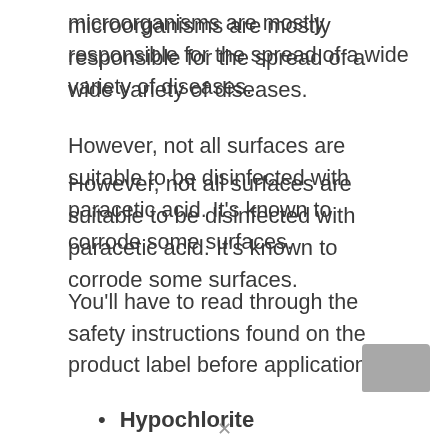microorganisms are mostly responsible for the spread of a wide variety of diseases.
However, not all surfaces are suitable to be disinfected with paracetic acid. It’s known to corrode some surfaces.
You’ll have to read through the safety instructions found on the product label before application.
Hypochlorite
Hypochlorite is a chlorine-based